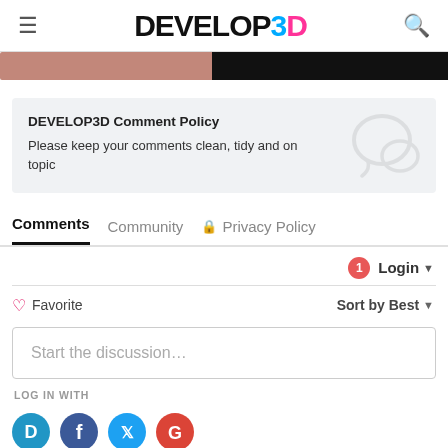DEVELOP3D
[Figure (photo): Two partial images: left brownish/reddish image strip, right dark/black image strip]
DEVELOP3D Comment Policy
Please keep your comments clean, tidy and on topic
Comments    Community    Privacy Policy
Login
Favorite    Sort by Best
Start the discussion...
LOG IN WITH